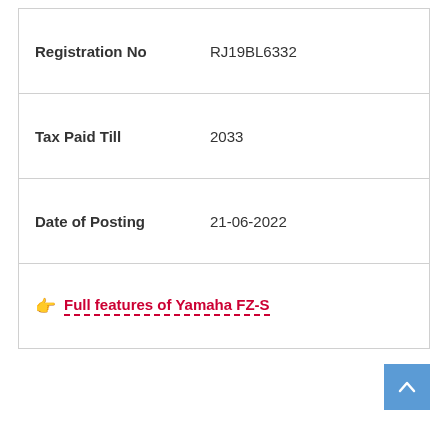| Registration No | RJ19BL6332 |
| Tax Paid Till | 2033 |
| Date of Posting | 21-06-2022 |
👉 Full features of Yamaha FZ-S